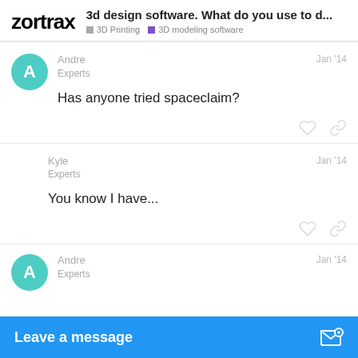zortrax | 3d design software. What do you use to d... | 3D Printing | 3D modeling software
Andre
Experts
Jan '14
Has anyone tried spaceclaim?
Kyle
Experts
Jan '14
You know I have...
Andre
Experts
Jan '14
Leave a message